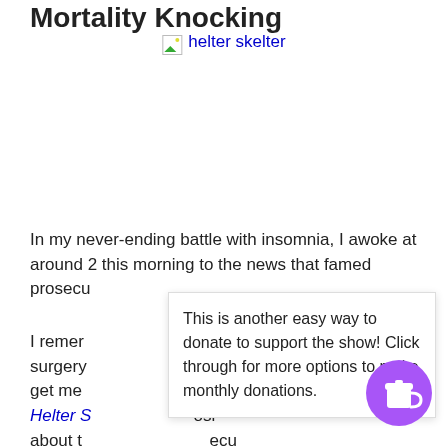Mortality Knocking
[Figure (photo): Broken image placeholder with link text 'helter skelter' in blue]
In my never-ending battle with insomnia, I awoke at around 2 this morning to the news that famed prosecu
I remer ... nor surgery ... he could get me ... t copy of Helter S... osi about t... ecu of the k... wi Bugliosi.
This is another easy way to donate to support the show! Click through for more options to make monthly donations.
[Figure (illustration): Purple circular donate button with coffee cup icon]